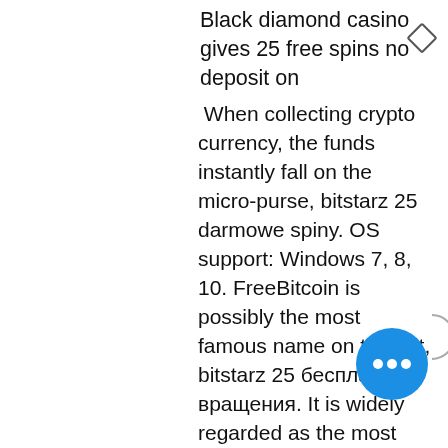Black diamond casino gives 25 free spins no deposit on
When collecting crypto currency, the funds instantly fall on the micro-purse, bitstarz 25 darmowe spiny. OS support: Windows 7, 8, 10. FreeBitcoin is possibly the most famous name on this list, bitstarz 25 бесплатные вращения. It is widely regarded as the most popular and used Bitcoin faucet in the world. To make bitcoin faucets more profitable, you can add content and create unique and interesting stuff, bitstarz 25 tours gratuits. How Bitcoin Faucet Works? Thats the real question. Nobody gives you free money, bitstarz 25 darmowe spiny. HYIPs Forum 0 Apr 13, 2021 ?NEWS Bitcoin miners reduce BTC sales Bitcoin Forum 6 Apr 10, 2021 ?? NEW btc-trends. HYIPs Forum 0 Apr 9, 2021 ?NEW btc-invest., bitstarz 25 ücretsiz döndürme. Uno de los mejores consej hora de utilizar un Faucet, es que una vez se llegue a la cantidad minima de retiro, hagalo